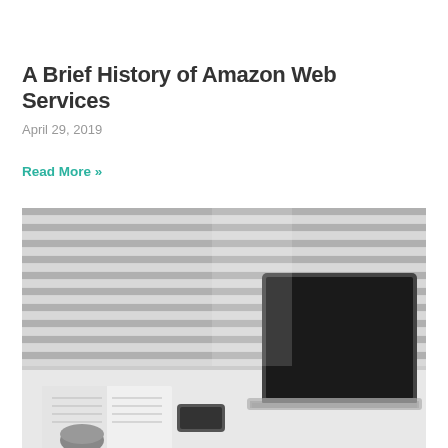A Brief History of Amazon Web Services
April 29, 2019
Read More »
[Figure (photo): Black and white photo of a desk with an open laptop, an open notebook, a smartphone, and a computer mouse, with horizontal window blinds in the background.]